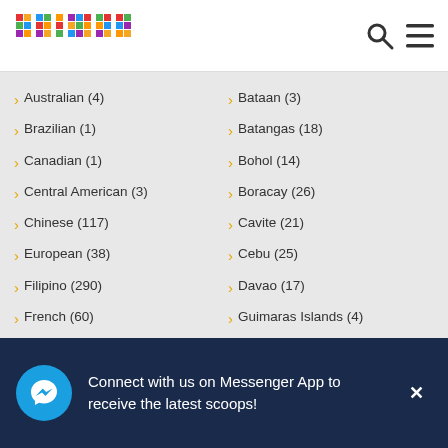[Figure (logo): Primer logo with colorful pixel squares spelling 'primer']
Australian (4)
Brazilian (1)
Canadian (1)
Central American (3)
Chinese (117)
European (38)
Filipino (290)
French (60)
Fusion (85)
German (6)
Greek & Mediterranean (36)
Bataan (3)
Batangas (18)
Bohol (14)
Boracay (26)
Cavite (21)
Cebu (25)
Davao (17)
Guimaras Islands (4)
Ifugao (4)
Ilocos Norte (12)
Ilocos Sur (19)
Iloilo (4)
Connect with us on Messenger App to receive the latest scoops!